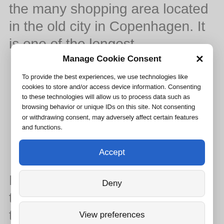the many shopping area located in the old city in Copenhagen. It is one of the longest
Manage Cookie Consent
To provide the best experiences, we use technologies like cookies to store and/or access device information. Consenting to these technologies will allow us to process data such as browsing behavior or unique IDs on this site. Not consenting or withdrawing consent, may adversely affect certain features and functions.
Accept
Deny
View preferences
Cookie Policy   Privacy policy
Boats are readily available here to take you on a guided boat of the canal. See everything